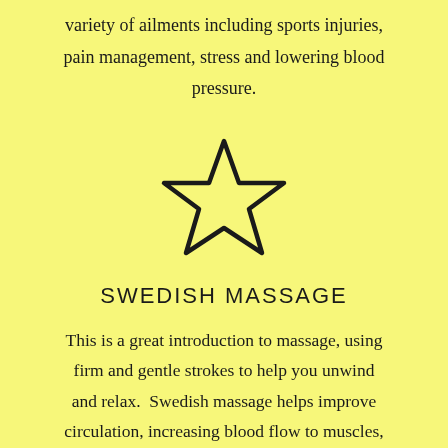variety of ailments including sports injuries, pain management, stress and lowering blood pressure.
[Figure (illustration): A simple outline drawing of a five-pointed star]
SWEDISH MASSAGE
This is a great introduction to massage, using firm and gentle strokes to help you unwind and relax.  Swedish massage helps improve circulation, increasing blood flow to muscles, aiding relief from muscular aches and improving the immune system.  This treatment is hailed as being great for general wellbeing.